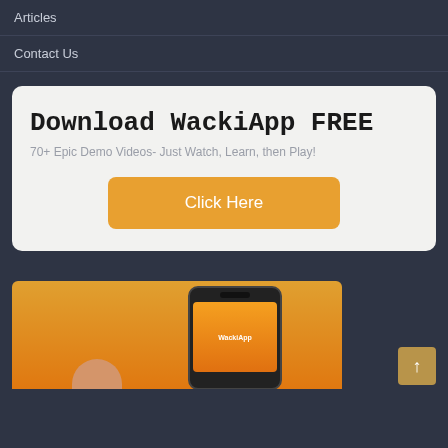Articles
Contact Us
Download WackiApp FREE
70+ Epic Demo Videos- Just Watch, Learn, then Play!
Click Here
[Figure (screenshot): Partial screenshot of a smartphone showing the WackiApp interface with an orange background, partially visible on an orange banner section at the bottom of the page. A brown back-to-top arrow button is in the bottom right corner.]